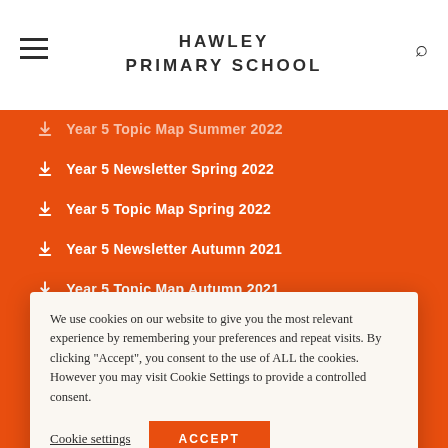HAWLEY PRIMARY SCHOOL
Year 5 Topic Map Summer 2022
Year 5 Newsletter Spring 2022
Year 5 Topic Map Spring 2022
Year 5 Newsletter Autumn 2021
Year 5 Topic Map Autumn 2021
Drawing the Sun Exhibition June 2021
We use cookies on our website to give you the most relevant experience by remembering your preferences and repeat visits. By clicking "Accept", you consent to the use of ALL the cookies. However you may visit Cookie Settings to provide a controlled consent.
Cookie settings | ACCEPT